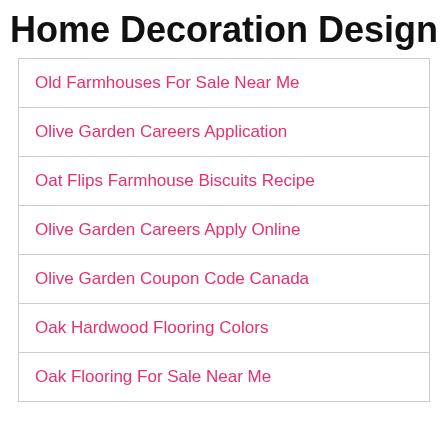Home Decoration Design
Old Farmhouses For Sale Near Me
Olive Garden Careers Application
Oat Flips Farmhouse Biscuits Recipe
Olive Garden Careers Apply Online
Olive Garden Coupon Code Canada
Oak Hardwood Flooring Colors
Oak Flooring For Sale Near Me